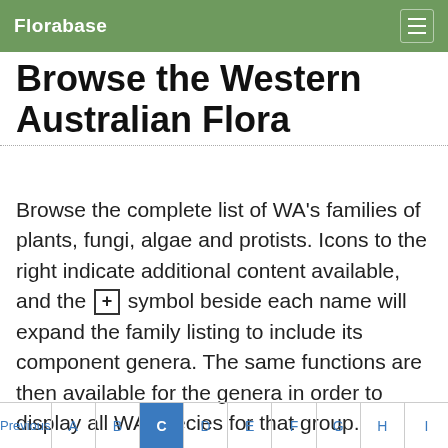Florabase
Browse the Western Australian Flora
Browse the complete list of WA's families of plants, fungi, algae and protists. Icons to the right indicate additional content available, and the ⊞ symbol beside each name will expand the family listing to include its component genera. The same functions are then available for the genera in order to display all WA species for that group.
Previous  A  B  C  D  E  F  G  H  I